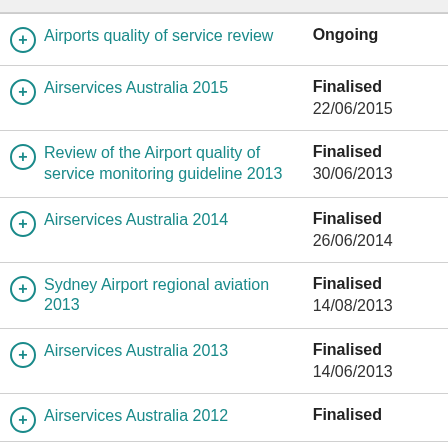| Review | Status |
| --- | --- |
| Airports quality of service review | Ongoing |
| Airservices Australia 2015 | Finalised
22/06/2015 |
| Review of the Airport quality of service monitoring guideline 2013 | Finalised
30/06/2013 |
| Airservices Australia 2014 | Finalised
26/06/2014 |
| Sydney Airport regional aviation 2013 | Finalised
14/08/2013 |
| Airservices Australia 2013 | Finalised
14/06/2013 |
| Airservices Australia 2012 | Finalised |